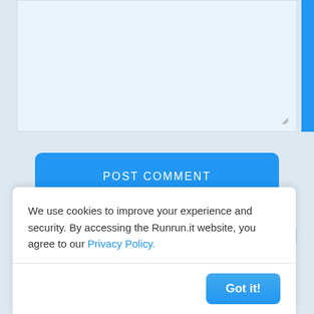[Figure (screenshot): Textarea input box with light blue background and a resize handle at the bottom right, with a blue scrollbar strip on the right edge.]
[Figure (screenshot): Blue 'POST COMMENT' button with rounded corners.]
We use cookies to improve your experience and security. By accessing the Runrun.it website, you agree to our Privacy Policy.
[Figure (screenshot): Cookie consent modal with 'Got it!' button at the bottom right.]